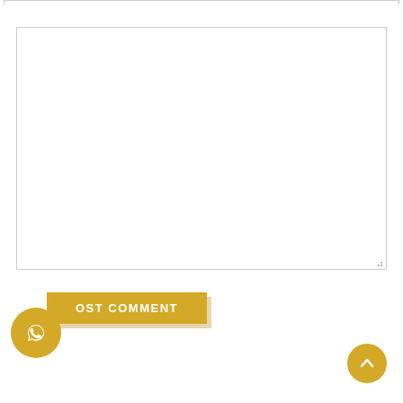[Figure (screenshot): A web page UI fragment showing a large empty textarea input box with a border, a gold/yellow 'POST COMMENT' button below it, a WhatsApp circular icon button on the left, and a gold back-to-top arrow button on the bottom right.]